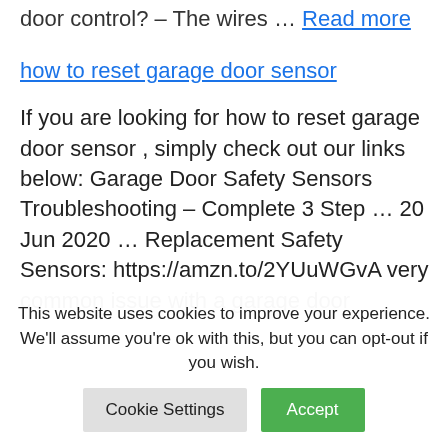door control? – The wires … Read more
how to reset garage door sensor
If you are looking for how to reset garage door sensor , simply check out our links below: Garage Door Safety Sensors Troubleshooting – Complete 3 Step … 20 Jun 2020 … Replacement Safety Sensors: https://amzn.to/2YUuWGvA very common issue with a garage door
This website uses cookies to improve your experience. We'll assume you're ok with this, but you can opt-out if you wish.